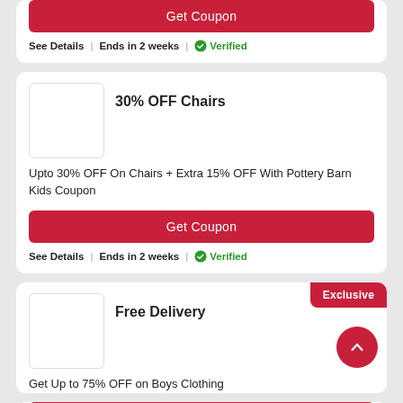[Figure (other): Get Coupon button (red) at top of page - partial card]
See Details | Ends in 2 weeks | ✓Verified
[Figure (other): Pottery Barn Kids logo placeholder box]
30% OFF Chairs
Upto 30% OFF On Chairs + Extra 15% OFF With Pottery Barn Kids Coupon
[Figure (other): Get Coupon red button]
See Details | Ends in 2 weeks | ✓Verified
[Figure (other): Pottery Barn Kids logo placeholder box]
Free Delivery
Get Up to 75% OFF on Boys Clothing
[Figure (other): Exclusive badge top right and Get Coupon partial button at bottom]